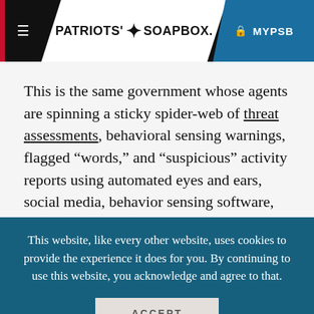Patriots' Soapbox — MYPSB
This is the same government whose agents are spinning a sticky spider-web of threat assessments, behavioral sensing warnings, flagged “words,” and “suspicious” activity reports using automated eyes and ears, social media, behavior sensing software, and
This website, like every other website, uses cookies to provide the experience it does for you. By continuing to use this website, you acknowledge and agree to that.
ACCEPT